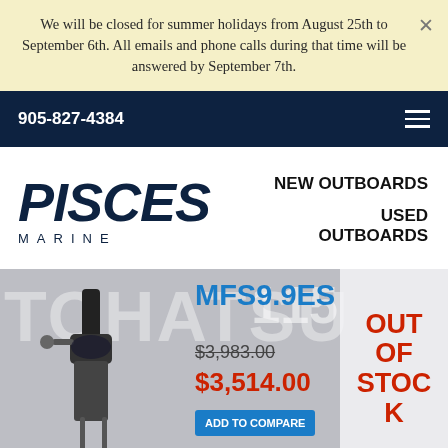We will be closed for summer holidays from August 25th to September 6th. All emails and phone calls during that time will be answered by September 7th.
905-827-4384
[Figure (logo): Pisces Marine logo — PISCES in bold italic dark navy, MARINE in spaced capitals below]
NEW OUTBOARDS
USED OUTBOARDS
[Figure (photo): Tohatsu MFS9.9ES outboard motor product listing on grey background. Motor image on left, product name MFS9.9ES in blue, old price $3,983.00 struck through, sale price $3,514.00 in red, Out of Stock badge on right in red text.]